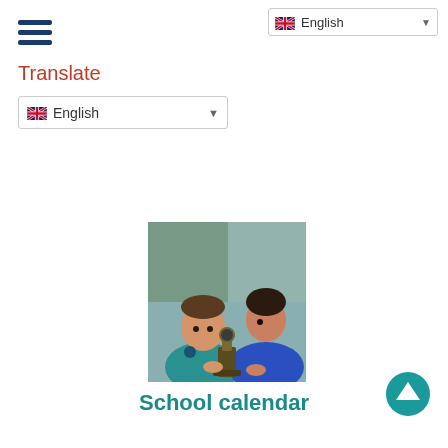English (language selector top right)
[Figure (screenshot): Hamburger menu icon (three horizontal dark blue lines)]
Translate
[Figure (screenshot): Language dropdown selector showing UK flag and 'English' with a down arrow]
[Figure (photo): Two children, one younger in a teal school uniform and one older in blue, looking down at a microscope together in a classroom setting]
School calendar
[Figure (other): Teal circle button with upward chevron arrow (back to top button)]